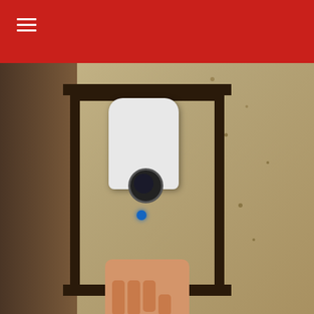Navigation menu header bar
[Figure (photo): A white security camera being installed on an outdoor wall lamp bracket, a hand holding it up]
Promoted
[Figure (photo): Woman showing toned stomach next to spoonful of spices/seasoning]
A Teaspoon On An Empty Stomach Burns Fat Like Crazy!
🔥 150,981
[Figure (photo): Two men at a desk in a TV studio (NYFE/financial news setting) with a video play button overlay]
Biden Probably Wants This Video Destroyed — Drastic Changes Happening To The US Dollar?
🔥 66,003